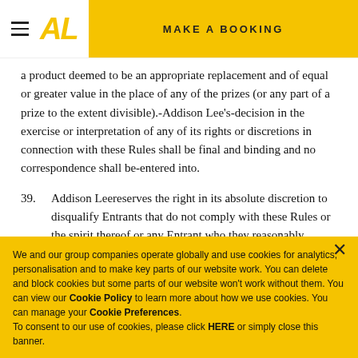AL | MAKE A BOOKING
a product deemed to be an appropriate replacement and of equal or greater value in the place of any of the prizes (or any part of a prize to the extent divisible).-Addison Lee's-decision in the exercise or interpretation of any of its rights or discretions in connection with these Rules shall be final and binding and no correspondence shall be-entered into.
39. Addison Leereserves the right in its absolute discretion to disqualify Entrants that do not comply with these Rules or the spirit thereof or any Entrant who they reasonably believe has interfered with the fair running of the Competition. The last text is cut off.
We and our group companies operate globally and use cookies for analytics, personalisation and to make key parts of our website work. You can delete and block cookies but some parts of our website won't work without them. You can view our Cookie Policy to learn more about how we use cookies. You can manage your Cookie Preferences. To consent to our use of cookies, please click HERE or simply close this banner.